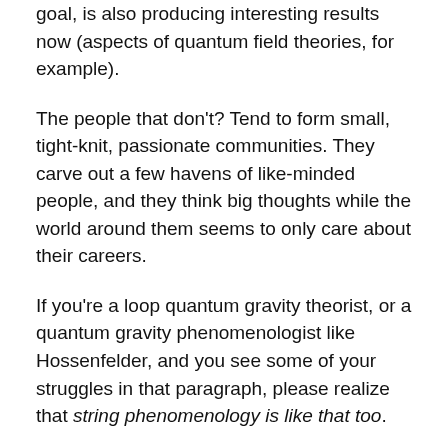goal, is also producing interesting results now (aspects of quantum field theories, for example).
The people that don’t? Tend to form small, tight-knit, passionate communities. They carve out a few havens of like-minded people, and they think big thoughts while the world around them seems to only care about their careers.
If you’re a loop quantum gravity theorist, or a quantum gravity phenomenologist like Hossenfelder, and you see some of your struggles in that paragraph, please realize that string phenomenology is like that too.
I feel like Hossenfelder imagines a world in which string theory is struck from its high place, and alternative theories of quantum gravity are of comparable size and power. But from where I’m sitting, it doesn’t look like it would work out that way. Instead, you’d have alternatives